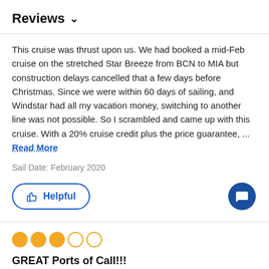Reviews ∨
This cruise was thrust upon us. We had booked a mid-Feb cruise on the stretched Star Breeze from BCN to MIA but construction delays cancelled that a few days before Christmas. Since we were within 60 days of sailing, and Windstar had all my vacation money, switching to another line was not possible. So I scrambled and came up with this cruise. With a 20% cruise credit plus the price guarantee, ... Read More
Sail Date: February 2020
Helpful
GREAT Ports of Call!!!